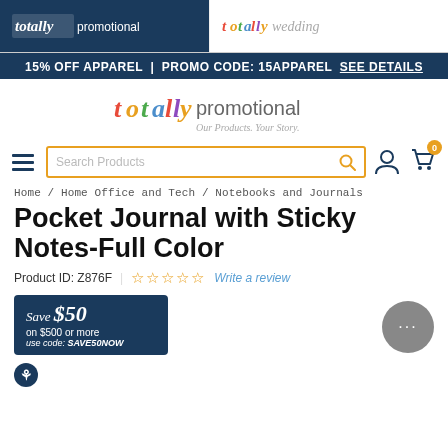[Figure (logo): Totally Promotional and Totally Wedding logos in header bar]
15% OFF APPAREL | PROMO CODE: 15APPAREL SEE DETAILS
[Figure (logo): Totally Promotional main logo with tagline 'Our Products. Your Story.']
[Figure (screenshot): Navigation bar with hamburger menu, search box, user icon, and cart with 0 badge]
Home / Home Office and Tech / Notebooks and Journals
Pocket Journal with Sticky Notes-Full Color
Product ID: Z876F | ☆☆☆☆☆ Write a review
[Figure (infographic): Save $50 on $500 or more badge and chat bubble icon]